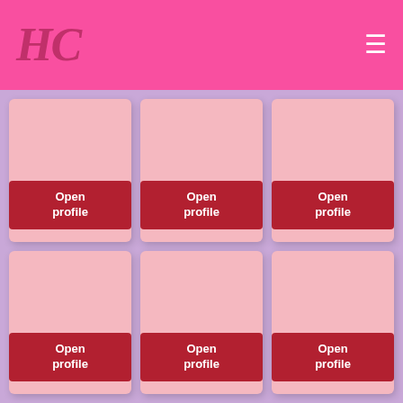HC
[Figure (screenshot): A grid of 6 profile cards arranged in 2 rows and 3 columns. Each card has a pink background and a red 'Open profile' button at the bottom. The layout has a purple/lavender background. The top header bar is hot pink with an italic 'HC' logo and a hamburger menu icon.]